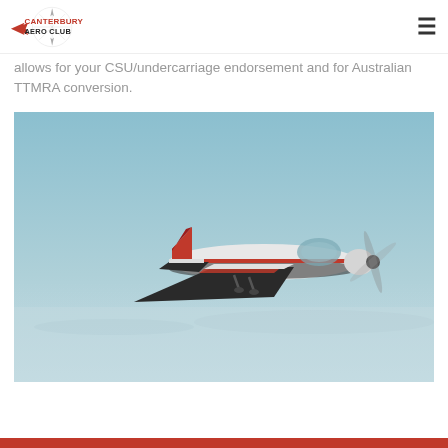Canterbury Aero Club
allows for your CSU/undercarriage endorsement and for Australian TTMRA conversion.
[Figure (photo): A small single-engine aircraft (white with red trim) photographed in flight against a light blue hazy sky with distant coastline visible below.]